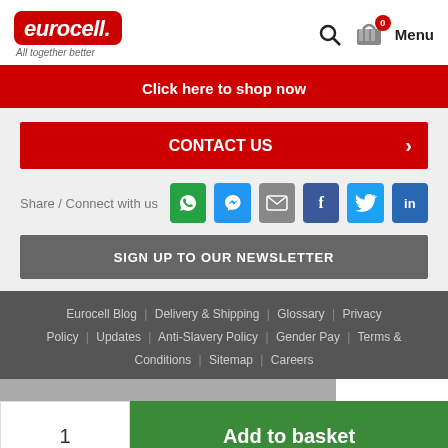[Figure (logo): Eurocell logo with red rounded rectangle background, white italic text 'eurocell.' and tagline 'All together better' below]
eurocell. All together better | Search | Basket 0 | Menu
Click here to shop now
CONTACT US
Share / Connect with us
SIGN UP TO OUR NEWSLETTER
Eurocell Blog | Delivery & Shipping | Glossary | Privacy Policy | Updates | Anti-Slavery Policy | Gender Pay | Terms & Conditions | Sitemap | Careers
1
Add to basket